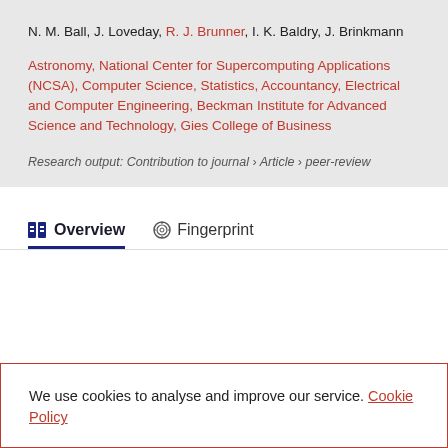N. M. Ball, J. Loveday, R. J. Brunner, I. K. Baldry, J. Brinkmann
Astronomy, National Center for Supercomputing Applications (NCSA), Computer Science, Statistics, Accountancy, Electrical and Computer Engineering, Beckman Institute for Advanced Science and Technology, Gies College of Business
Research output: Contribution to journal › Article › peer-review
Overview
Fingerprint
We use cookies to analyse and improve our service. Cookie Policy